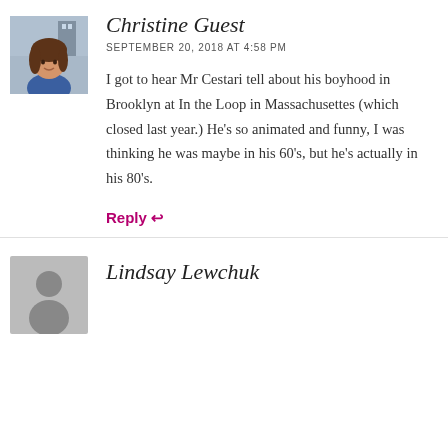[Figure (photo): Small square avatar photo of a woman with brown hair wearing a blue top, photographed outdoors]
Christine Guest
SEPTEMBER 20, 2018 AT 4:58 PM
I got to hear Mr Cestari tell about his boyhood in Brooklyn at In the Loop in Massachusettes (which closed last year.) He's so animated and funny, I was thinking he was maybe in his 60's, but he's actually in his 80's.
Reply ↩
[Figure (illustration): Generic grey avatar placeholder icon showing a silhouette of a person]
Lindsay Lewchuk